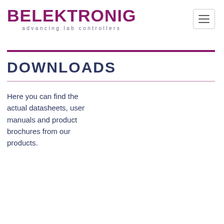BELEKTRONIG advancing lab controllers
DOWNLOADS
Here you can find the actual datasheets, user manuals and product brochures from our products.